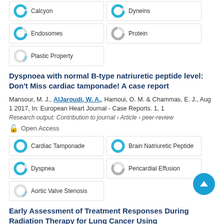Calcyon
Dyneins
Endosomes
Protein
Plastic Property
Dyspnoea with normal B-type natriuretic peptide level: Don't Miss cardiac tamponade! A case report
Mansour, M. J., AlJaroudi, W. A., Hamoui, O. M. & Chammas, E. J., Aug 1 2017, In: European Heart Journal - Case Reports. 1, 1
Research output: Contribution to journal › Article › peer-review
Open Access
Cardiac Tamponade
Brain Natriuretic Peptide
Dyspnea
Pericardial Effusion
Aortic Valve Stenosis
Early Assessment of Treatment Responses During Radiation Therapy for Lung Cancer Using